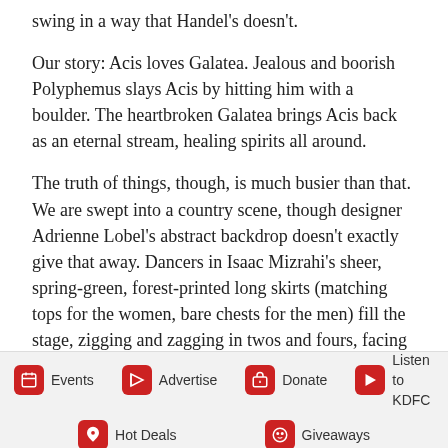swing in a way that Handel's doesn't.
Our story: Acis loves Galatea. Jealous and boorish Polyphemus slays Acis by hitting him with a boulder. The heartbroken Galatea brings Acis back as an eternal stream, healing spirits all around.
The truth of things, though, is much busier than that. We are swept into a country scene, though designer Adrienne Lobel's abstract backdrop doesn't exactly give that away. Dancers in Isaac Mizrahi's sheer, spring-green, forest-printed long skirts (matching tops for the women, bare chests for the men) fill the stage, zigging and zagging in twos and fours, facing us as they buoyantly sideslip. They're setting the pace for the next two acts, which rarely slow for more than a few moments.
Events | Advertise | Donate | Listen to KDFC | Hot Deals | Giveaways